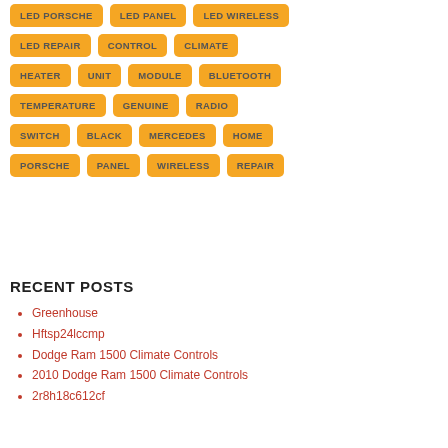LED PORSCHE
LED PANEL
LED WIRELESS
LED REPAIR
CONTROL
CLIMATE
HEATER
UNIT
MODULE
BLUETOOTH
TEMPERATURE
GENUINE
RADIO
SWITCH
BLACK
MERCEDES
HOME
PORSCHE
PANEL
WIRELESS
REPAIR
RECENT POSTS
Greenhouse
Hftsp24lccmp
Dodge Ram 1500 Climate Controls
2010 Dodge Ram 1500 Climate Controls
2r8h18c612cf